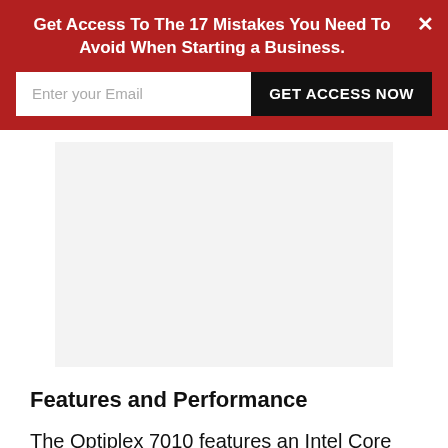Get Access To The 17 Mistakes You Need To Avoid When Starting a Business.
Enter your Email
GET ACCESS NOW
[Figure (other): Advertisement placeholder area, light grey background]
Features and Performance
The Optiplex 7010 features an Intel Core i5-2470 Quad-Core processor.